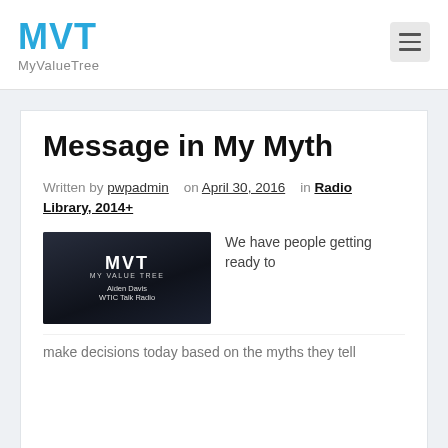MVT MyValueTree
Message in My Myth
Written by pwpadmin   on April 30, 2016   in Radio Library, 2014+
[Figure (photo): MVT My Value Tree radio show thumbnail with Aiden Davis WTIC Talk Radio text over dark city skyline background]
We have people getting ready to make decisions today based on the myths they tell